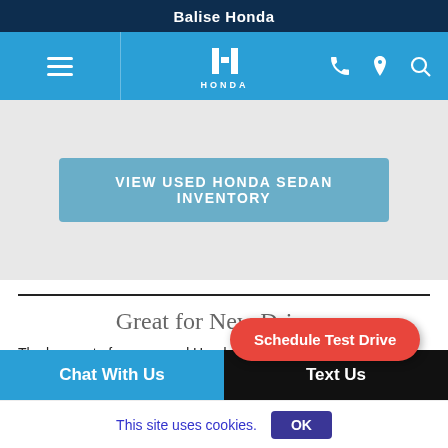Balise Honda
[Figure (screenshot): Navigation bar with hamburger menu, Honda logo, phone icon, location pin icon, and search icon on a blue background]
[Figure (screenshot): Gray section with a blue button labeled VIEW USED HONDA SEDAN INVENTORY]
Great for New Drivers
The low cost of a preowned Honda car is just one of the reasons that it's an ideal choice for the newly licensed. The right car also gets fuel, which means less money spent at the pump — something young people can especially appreciate. And while insurance for new
[Figure (screenshot): Red pill-shaped button with text Schedule Test Drive]
[Figure (screenshot): Bottom bar with Chat With Us on blue background and Text Us on black background]
This site uses cookies.
[Figure (screenshot): OK button for cookie consent]